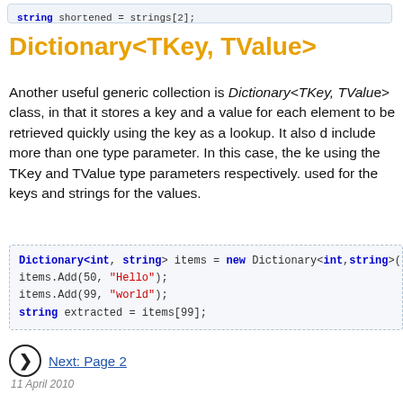string shortened = strings[2];
Dictionary<TKey, TValue>
Another useful generic collection is Dictionary<TKey, TValue> class, in that it stores a key and a value for each element to be retrieved quickly using the key as a lookup. It also demonstrates how a class can include more than one type parameter. In this case, the key and value types are specified using the TKey and TValue type parameters respectively. In the example below, integers are used for the keys and strings for the values.
Dictionary<int, string> items = new Dictionary<int,string>();
items.Add(50, "Hello");
items.Add(99, "world");
string extracted = items[99];
Next: Page 2
11 April 2010